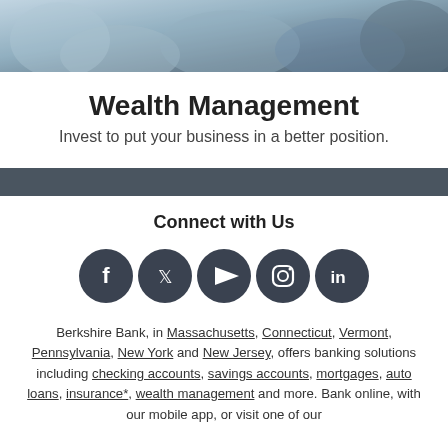[Figure (photo): Photo of people in a business/meeting setting, hands visible, blurred background]
Wealth Management
Invest to put your business in a better position.
Connect with Us
[Figure (infographic): Social media icons: Facebook, Twitter, YouTube, Instagram, LinkedIn — dark circular buttons]
Berkshire Bank, in Massachusetts, Connecticut, Vermont, Pennsylvania, New York and New Jersey, offers banking solutions including checking accounts, savings accounts, mortgages, auto loans, insurance*, wealth management and more. Bank online, with our mobile app, or visit one of our